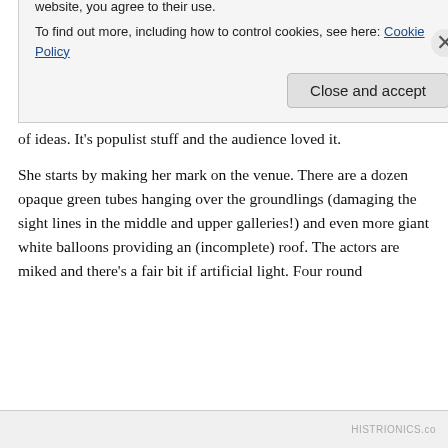Shakespeare's Globe
Well, Emma Rice certainly knows how to make her mark. Her inaugural production (and only her second Shakespeare) at The Globe is exuberant, anarchic, irreverent, cheeky and packed full of ideas. It’s populist stuff and the audience loved it.
She starts by making her mark on the venue. There are a dozen opaque green tubes hanging over the groundlings (damaging the sight lines in the middle and upper galleries!) and even more giant white balloons providing an (incomplete) roof. The actors are miked and there’s a fair bit if artificial light. Four round
Privacy & Cookies: This site uses cookies. By continuing to use this website, you agree to their use.
To find out more, including how to control cookies, see here: Cookie Policy